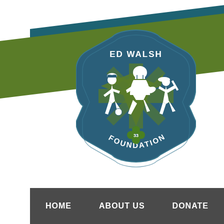[Figure (logo): Ed Walsh Foundation logo — a maltese cross badge in dark teal/navy with green chevron rays. White silhouettes of three children playing sports (soccer, football, baseball). Text 'ED WALSH' at top and 'FOUNDATION' at bottom in white collegiate lettering. A green four-leaf clover with '33' in the center at bottom.]
HOME   ABOUT US   DONATE